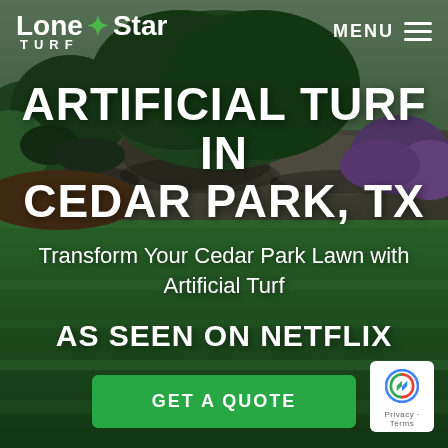[Figure (photo): Lush green artificial turf lawn with stone retaining wall and garden in background]
Lone Star Turf | MENU
ARTIFICIAL TURF IN CEDAR PARK, TX
Transform Your Cedar Park Lawn with Artificial Turf
AS SEEN ON NETFLIX
GET A QUOTE